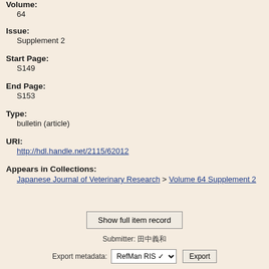Volume:
64
Issue:
Supplement 2
Start Page:
S149
End Page:
S153
Type:
bulletin (article)
URI:
http://hdl.handle.net/2115/62012
Appears in Collections:
Japanese Journal of Veterinary Research > Volume 64 Supplement 2
Show full item record
Submitter: 田中義和
Export metadata: RefMan RIS Export